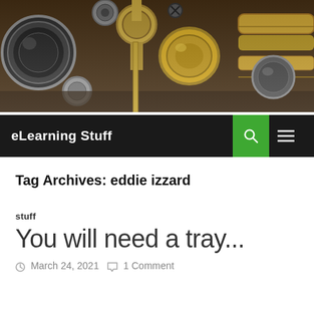[Figure (photo): Header photo of brass scientific/optical instruments on a dark wooden surface]
eLearning Stuff
Tag Archives: eddie izzard
stuff
You will need a tray...
March 24, 2021  1 Comment